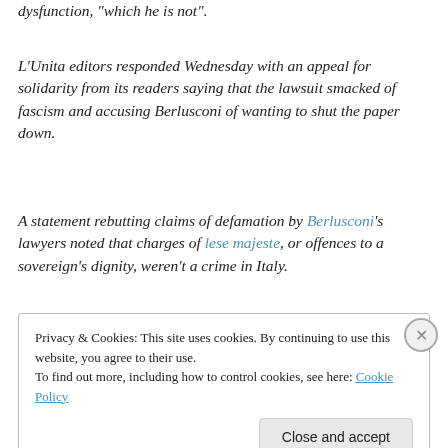dysfunction, "which he is not".
L'Unita editors responded Wednesday with an appeal for solidarity from its readers saying that the lawsuit smacked of fascism and accusing Berlusconi of wanting to shut the paper down.
A statement rebutting claims of defamation by Berlusconi's lawyers noted that charges of lese majeste, or offences to a sovereign's dignity, weren't a crime in Italy.
Founded by the father of Italian communism, Antonio
Privacy & Cookies: This site uses cookies. By continuing to use this website, you agree to their use.
To find out more, including how to control cookies, see here: Cookie Policy
Close and accept